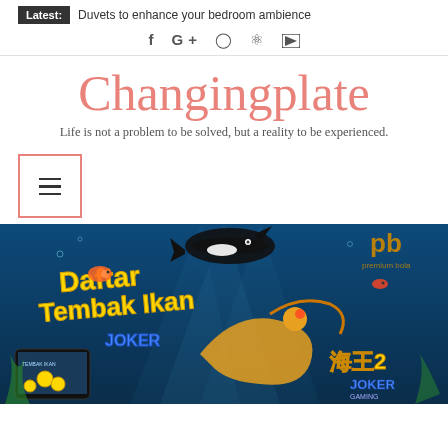Latest: Duvets to enhance your bedroom ambience
Social icons: f G+ Instagram Pinterest YouTube
Changingplate
Life is not a problem to be solved, but a reality to be experienced.
[Figure (other): Hamburger menu button with red/pink border]
[Figure (illustration): Colorful online fish shooting game banner showing 'Daftar Tembak Ikan JOKER' with underwater scene featuring fish, a whale, dragon, and gaming UI elements. Premium Bola logo visible in top right. Chinese characters and JOKER GAMING branding at bottom right.]